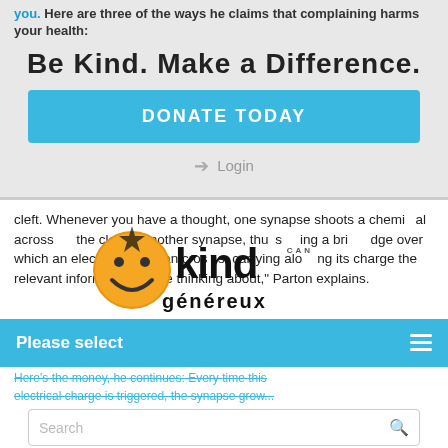Here are three of the ways he claims that complaining harms your health:
Be Kind. Make a Difference.
[Figure (other): Blue donate today button]
Login
cleft. Whenever you have a thought, one synapse shoots a chemical across the cleft to another synapse, thus creating a bridge over which an electric signal can cross, carrying along its charge the relevant information you're thinking about," Parton explains.
[Figure (other): Smiley face badge with 'kind' and 'genereux' overlaid text]
[Figure (other): Please select dropdown bar with hamburger menu]
Here's the money, he continues: Every time this electrical charge is triggered, the synapse grow...
[Figure (other): Search bar with magnifying glass icon]
the electrical charge has to cross.... The brain is